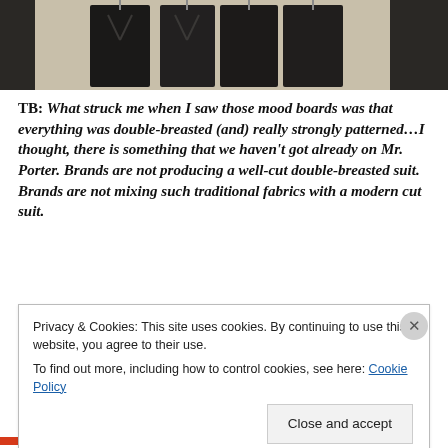[Figure (photo): Top portion of a photograph showing dark suits/jackets on display, cropped at the top of the page]
TB: What struck me when I saw those mood boards was that everything was double-breasted (and) really strongly patterned…I thought, there is something that we haven't got already on Mr. Porter. Brands are not producing a well-cut double-breasted suit. Brands are not mixing such traditional fabrics with a modern cut suit.
AR: Well, partly that was my own naïveté, however whilst I
Privacy & Cookies: This site uses cookies. By continuing to use this website, you agree to their use.
To find out more, including how to control cookies, see here: Cookie Policy
Close and accept